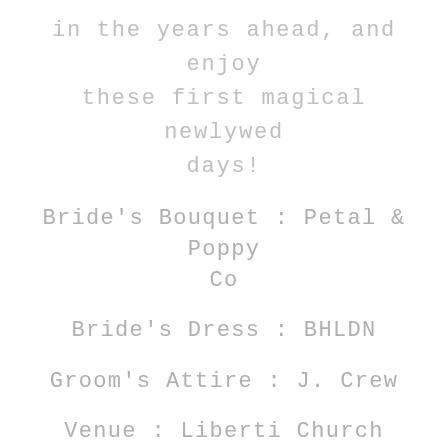in the years ahead, and enjoy these first magical newlywed days!
Bride's Bouquet : Petal & Poppy Co
Bride's Dress : BHLDN
Groom's Attire : J. Crew
Venue : Liberti Church